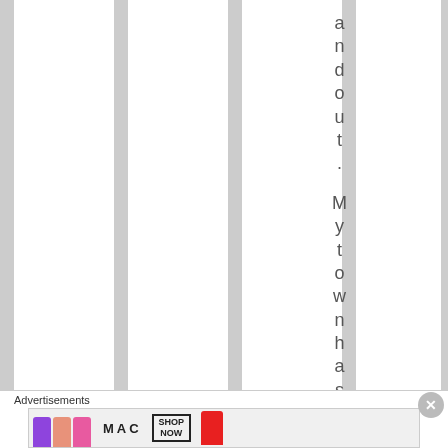[Figure (illustration): Page background with alternating white and gray vertical stripes, with vertical text reading 'and out. Mytownhas' displayed character by character top to bottom in one of the white stripe columns.]
and out. Mytownhas
Advertisements
[Figure (photo): MAC cosmetics advertisement banner showing colorful lipsticks (purple, peach, pink, red) with MAC logo text and SHOP NOW button]